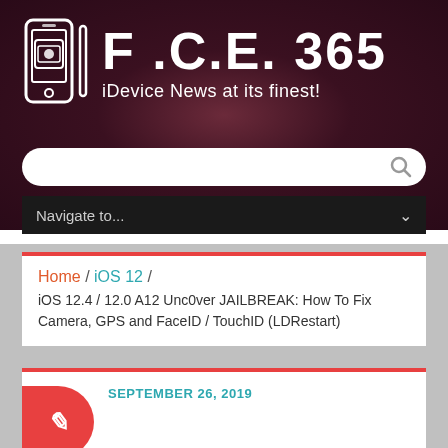[Figure (logo): F.C.E. 365 logo with phone icon and tagline iDevice News at its finest!]
Navigate to...
Home / iOS 12 / iOS 12.4 / 12.0 A12 Unc0ver JAILBREAK: How To Fix Camera, GPS and FaceID / TouchID (LDRestart)
SEPTEMBER 26, 2019
iOS 12.4 / 12.0 A12 Unc0ver JAILBREAK: How To Fi...